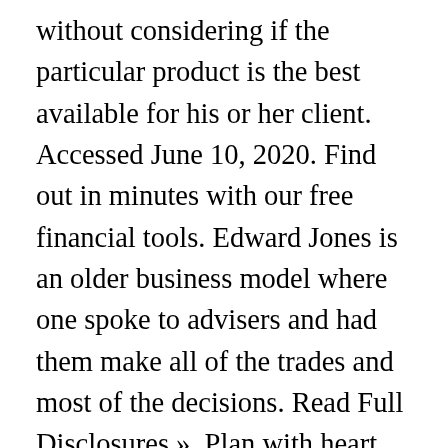without considering if the particular product is the best available for his or her client. Accessed June 10, 2020. Find out in minutes with our free financial tools. Edward Jones is an older business model where one spoke to advisers and had them make all of the trades and most of the decisions. Read Full Disclosures », Plan with heart. The Edward Jones approach will generally cost the consumer much more than a robo's low fee. When it comes to money management, there is no lack of choices. A mutual fund wrap is a personal wealth management service that gives investors access to personalized advice and a large pool of mutual funds. "Why Jempstep." They meet with you in person.